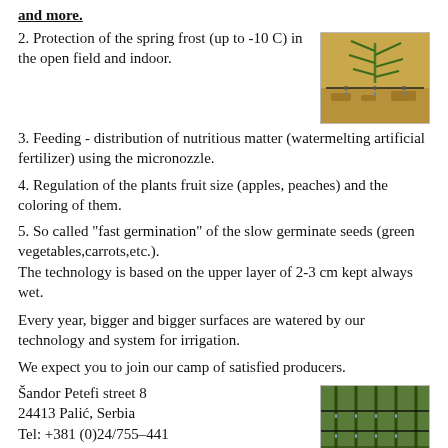2. Protection of the spring frost (up to -10 C) in the open field and indoor.
[Figure (photo): Photo of a plant with drip irrigation system on dry soil]
3. Feeding - distribution of nutritious matter (watermelting artificial fertilizer) using the micronozzle.
4. Regulation of the plants fruit size (apples, peaches) and the coloring of them.
5. So called "fast germination" of the slow germinate seeds (green vegetables,carrots,etc.).
The technology is based on the upper layer of 2-3 cm kept always wet.
Every year, bigger and bigger surfaces are watered by our technology and system for irrigation.
We expect you to join our camp of satisfied producers.
Šandor Petefi street 8
24413 Palić, Serbia
Tel: +381 (0)24/755–441
+381 (0)64/168–92–54
[Figure (photo): Photo of irrigation system in a field with rows of plants]